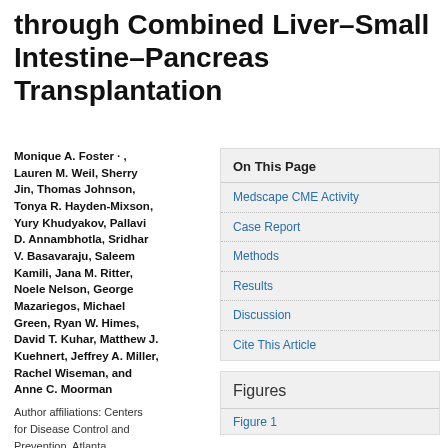through Combined Liver–Small Intestine–Pancreas Transplantation
Monique A. Foster, Lauren M. Weil, Sherry Jin, Thomas Johnson, Tonya R. Hayden-Mixson, Yury Khudyakov, Pallavi D. Annambhotla, Sridhar V. Basavaraju, Saleem Kamili, Jana M. Ritter, Noele Nelson, George Mazariegos, Michael Green, Ryan W. Himes, David T. Kuhar, Matthew J. Kuehnert, Jeffrey A. Miller, Rachel Wiseman, and Anne C. Moorman
Author affiliations: Centers for Disease Control and Prevention, Atlanta, Georgia, USA (M.A. Foster,
On This Page
Medscape CME Activity
Case Report
Methods
Results
Discussion
Cite This Article
Figures
Figure 1